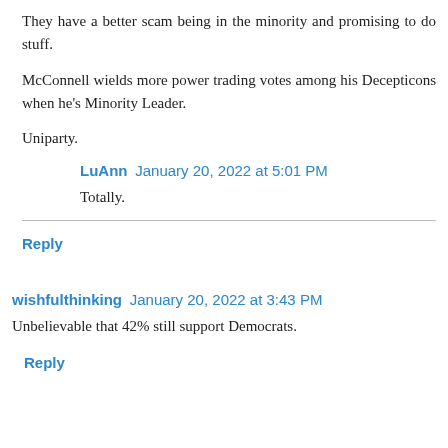They have a better scam being in the minority and promising to do stuff.
McConnell wields more power trading votes among his Decepticons when he's Minority Leader.
Uniparty.
LuAnn  January 20, 2022 at 5:01 PM
Totally.
Reply
wishfulthinking  January 20, 2022 at 3:43 PM
Unbelievable that 42% still support Democrats.
Reply